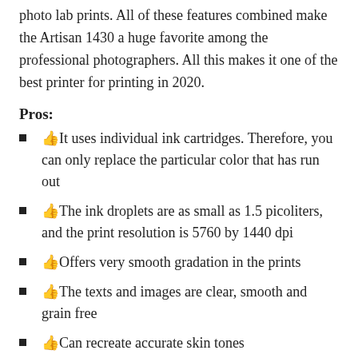photo lab prints. All of these features combined make the Artisan 1430 a huge favorite among the professional photographers. All this makes it one of the best printer for printing in 2020.
Pros:
👍It uses individual ink cartridges. Therefore, you can only replace the particular color that has run out
👍The ink droplets are as small as 1.5 picoliters, and the print resolution is 5760 by 1440 dpi
👍Offers very smooth gradation in the prints
👍The texts and images are clear, smooth and grain free
👍Can recreate accurate skin tones
👍Can accommodate media of up to 13 inches